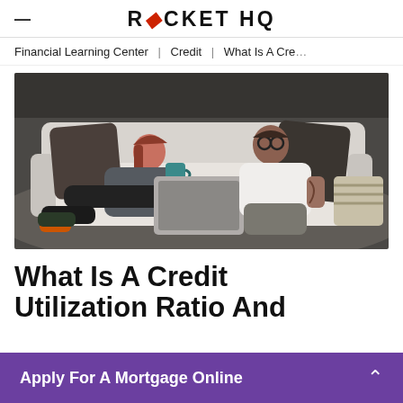ROCKET HQ
Financial Learning Center | Credit | What Is A Cre...
[Figure (photo): A couple relaxing on a white sofa, one holding a laptop and the other holding a mug, with dark decorative pillows in the background.]
What Is A Credit Utilization Ratio And
Apply For A Mortgage Online